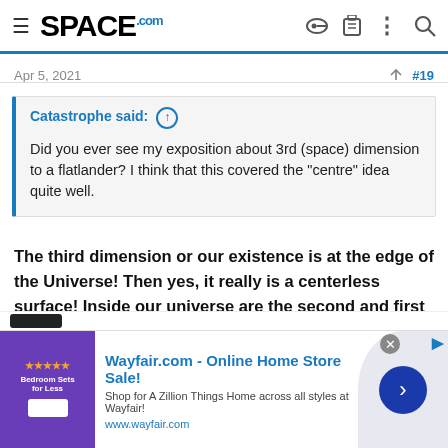SPACE.com
Apr 5, 2021   #19
Catastrophe said: ↑

Did you ever see my exposition about 3rd (space) dimension to a flatlander? I think that this covered the "centre" idea quite well.
The third dimension or our existence is at the edge of the Universe! Then yes, it really is a centerless surface! Inside our universe are the second and first dimensions!
[Figure (screenshot): Wayfair.com advertisement banner with bedroom image, ad title 'Wayfair.com - Online Home Store Sale!', subtitle 'Shop for A Zillion Things Home across all styles at Wayfair!', url 'www.wayfair.com', and a blue arrow button.]